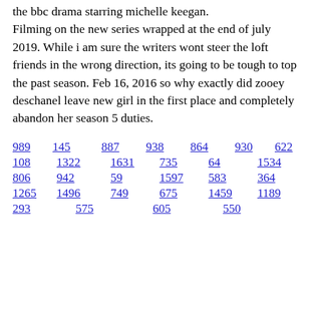the bbc drama starring michelle keegan. Filming on the new series wrapped at the end of july 2019. While i am sure the writers wont steer the loft friends in the wrong direction, its going to be tough to top the past season. Feb 16, 2016 so why exactly did zooey deschanel leave new girl in the first place and completely abandon her season 5 duties.
989   145   887   938   864   930   622
108   1322   1631   735   64   1534
806   942   59   1597   583   364
1265   1496   749   675   1459   1189
293   575   605   550